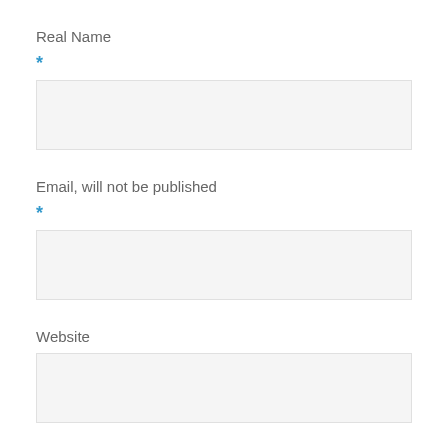Real Name
*
Email, will not be published
*
Website
Usual residence *